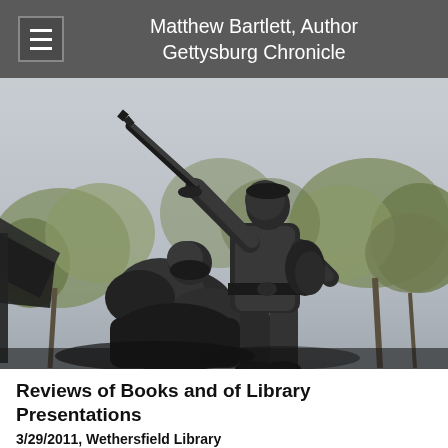Matthew Bartlett, Author Gettysburg Chronicle
[Figure (photo): Bronze Civil War monument statues photographed from below against an overcast sky with autumn trees in background. Two soldier figures, one standing holding a rifle aloft, one fallen or kneeling below.]
Reviews of Books and of Library Presentations
3/29/2011, Wethersfield Library